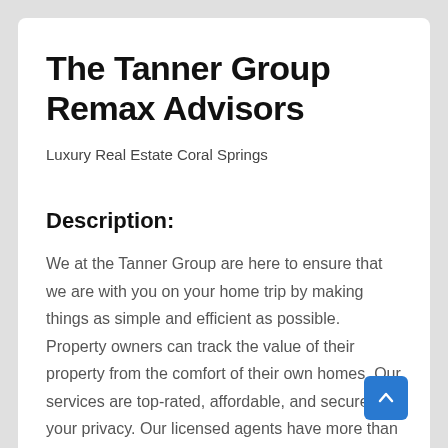The Tanner Group Remax Advisors
Luxury Real Estate Coral Springs
Description:
We at the Tanner Group are here to ensure that we are with you on your home trip by making things as simple and efficient as possible. Property owners can track the value of their property from the comfort of their own homes. Our services are top-rated, affordable, and secure for your privacy. Our licensed agents have more than 25 years of industry experience and exceptional interpersonal and communication skills. Listing and purchasing a home on our platform is